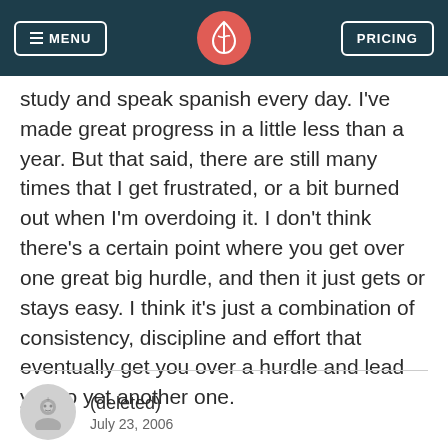MENU | [logo] | PRICING
study and speak spanish every day. I've made great progress in a little less than a year. But that said, there are still many times that I get frustrated, or a bit burned out when I'm overdoing it. I don't think there's a certain point where you get over one great big hurdle, and then it just gets or stays easy. I think it's just a combination of consistency, discipline and effort that eventually get you over a hurdle and lead you to yet another one.
(deleted)
July 23, 2006